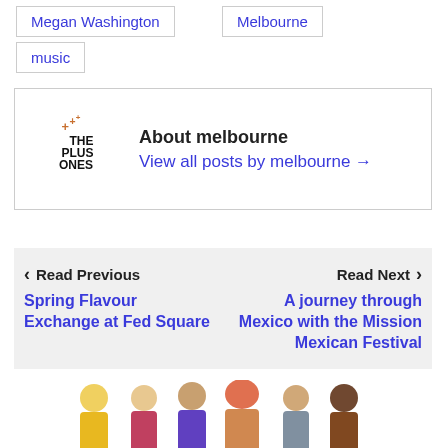Megan Washington
Melbourne
music
About melbourne
View all posts by melbourne →
[Figure (logo): The Plus Ones logo with decorative plus signs]
Read Previous
Spring Flavour Exchange at Fed Square
Read Next
A journey through Mexico with the Mission Mexican Festival
[Figure (photo): Group of six people in colourful costumes]